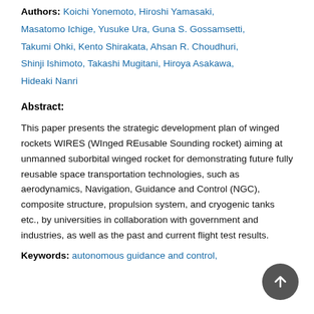Authors: Koichi Yonemoto, Hiroshi Yamasaki, Masatomo Ichige, Yusuke Ura, Guna S. Gossamsetti, Takumi Ohki, Kento Shirakata, Ahsan R. Choudhuri, Shinji Ishimoto, Takashi Mugitani, Hiroya Asakawa, Hideaki Nanri
Abstract:
This paper presents the strategic development plan of winged rockets WIRES (WInged REusable Sounding rocket) aiming at unmanned suborbital winged rocket for demonstrating future fully reusable space transportation technologies, such as aerodynamics, Navigation, Guidance and Control (NGC), composite structure, propulsion system, and cryogenic tanks etc., by universities in collaboration with government and industries, as well as the past and current flight test results.
Keywords: autonomous guidance and control,